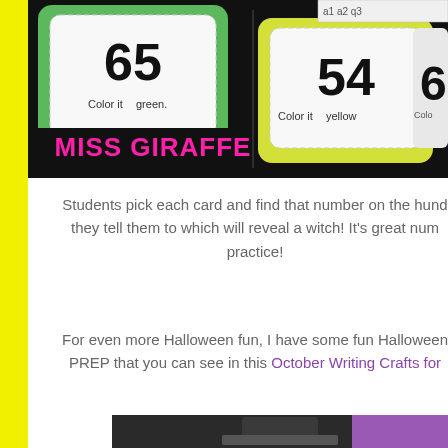[Figure (photo): Educational number cards showing 65 (Color it green), 54 (Color it yellow), and partial cards, with MISS GIRAFFE branding in pink text on black background]
Students pick each card and find that number on the hund they tell them to which will reveal a witch! It's great num practice!
For even more Halloween fun, I have some fun Halloween PREP that you can see in this October Writing Crafts for
[Figure (photo): Bottom portion of a Halloween-themed educational craft image with dark background]